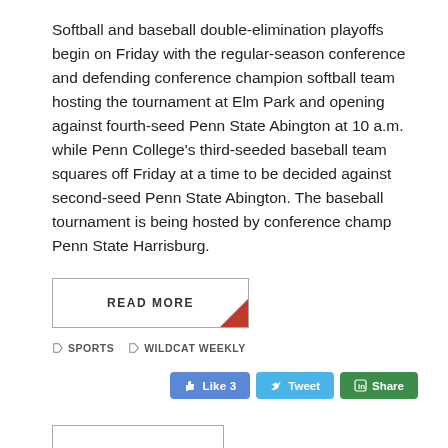Softball and baseball double-elimination playoffs begin on Friday with the regular-season conference and defending conference champion softball team hosting the tournament at Elm Park and opening against fourth-seed Penn State Abington at 10 a.m. while Penn College's third-seeded baseball team squares off Friday at a time to be decided against second-seed Penn State Abington. The baseball tournament is being hosted by conference champ Penn State Harrisburg.
READ MORE
SPORTS   WILDCAT WEEKLY
[Figure (other): Social media buttons: Like 3, Tweet, Share]